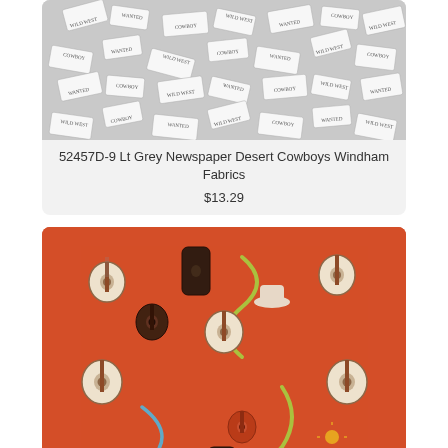[Figure (photo): Light grey newspaper pattern fabric with scattered western-themed text labels reading 'Wild West', 'Wanted', 'Cowboy' on small rectangular tags, scattered randomly on a grey background.]
52457D-9 Lt Grey Newspaper Desert Cowboys Windham Fabrics
$13.29
[Figure (photo): Red orange fabric pattern with scattered guitars, guitar cases, cowboy hats, and decorative swirls in brown, cream, and green on a bright orange-red background.]
52754-8 Red Orange Guitars Far Far